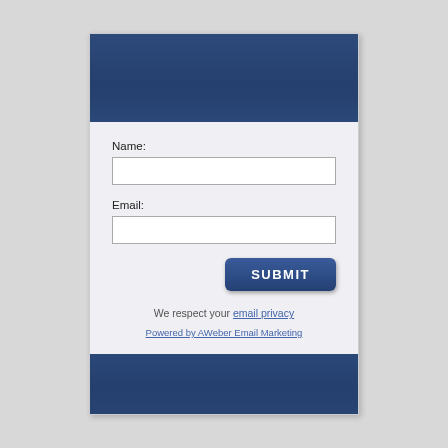[Figure (screenshot): Dark blue header banner at top of email signup form widget]
Name:
Email:
SUBMIT
We respect your email privacy
Powered by AWeber Email Marketing
[Figure (screenshot): Dark blue footer banner at bottom of email signup form widget]